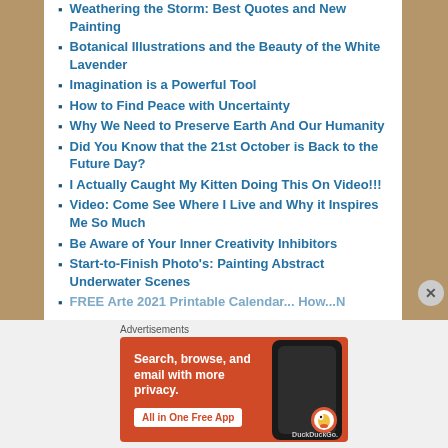Weathering the Storm: Best Quotes and New Painting
Botanical Illustrations and the Beauty of the White Lavender
Imagination is a Powerful Tool
How to Find Peace with Uncertainty
Why We Need to Preserve Earth And Our Humanity
Did You Know that the 21st October is Back to the Future Day?
I Actually Caught My Kitten Doing This On Video!!!
Video: Come See Where I Live and Why it Inspires Me So Much
Be Aware of Your Inner Creativity Inhibitors
Start-to-Finish Photo's: Painting Abstract Underwater Scenes
FREE Arte 2021 Printable Calendar... How...N
Advertisements
[Figure (screenshot): DuckDuckGo advertisement banner: 'Search, browse, and email with more privacy. All in One Free App' with phone image and DuckDuckGo logo on orange/red background]